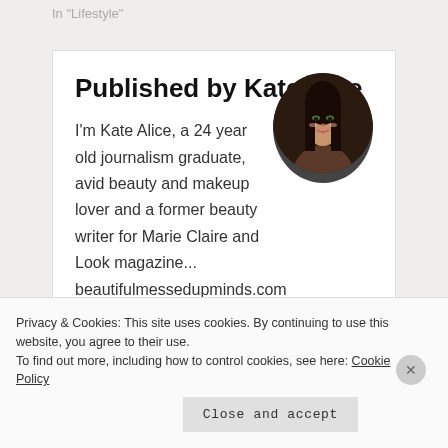In "Lifestyle"
Published by KateAlice
[Figure (photo): Circular profile photo of KateAlice, a woman with long dark hair and green eye makeup]
I'm Kate Alice, a 24 year old journalism graduate, avid beauty and makeup lover and a former beauty writer for Marie Claire and Look magazine... beautifulmessedupminds.com is my space to share my thoughts on beauty,
Privacy & Cookies: This site uses cookies. By continuing to use this website, you agree to their use.
To find out more, including how to control cookies, see here: Cookie Policy
Close and accept